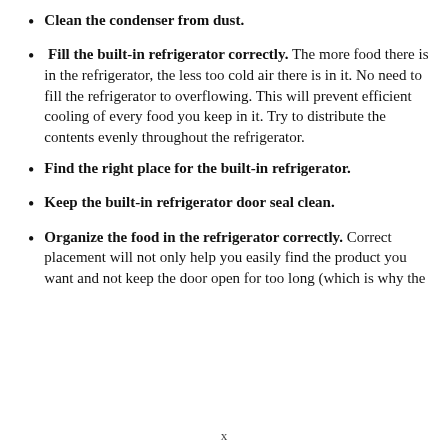Clean the condenser from dust.
Fill the built-in refrigerator correctly. The more food there is in the refrigerator, the less too cold air there is in it. No need to fill the refrigerator to overflowing. This will prevent efficient cooling of every food you keep in it. Try to distribute the contents evenly throughout the refrigerator.
Find the right place for the built-in refrigerator.
Keep the built-in refrigerator door seal clean.
Organize the food in the refrigerator correctly. Correct placement will not only help you easily find the product you want and not keep the door open for too long (which is why the
x